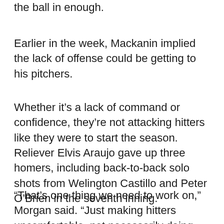the ball in enough.
Earlier in the week, Mackanin implied the lack of offense could be getting to his pitchers.
Whether it’s a lack of command or confidence, they’re not attacking hitters like they were to start the season. Reliever Elvis Araujo gave up three homers, including back-to-back solo shots from Welington Castillo and Peter O’Brien in the seventh inning.
“That’s one thing we need to work on,” Morgan said. “Just making hitters uncomfortable, not necessarily doing anything irrational, but you have to show you’re not afraid of hitters.”